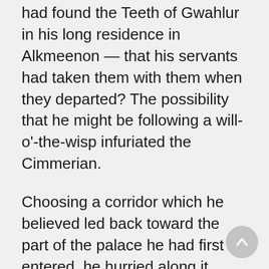had found the Teeth of Gwahlur in his long residence in Alkmeenon — that his servants had taken them with them when they departed? The possibility that he might be following a will-o'-the-wisp infuriated the Cimmerian.
Choosing a corridor which he believed led back toward the part of the palace he had first entered, he hurried along it, stepping gingerly as he thought of that black river that seethed and foamed somewhere below his feet.
His speculations recurrently revolved about the oracle chamber and its cryptic occupant. Somewhere in that vicinity must be the clue to the mystery of the treasure,